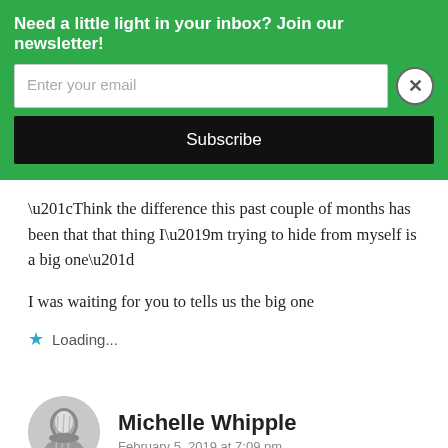Need a little light in your inbox? Join our newsletter!
“Think the difference this past couple of months has been that that thing I’m trying to hide from myself is a big one”
I was waiting for you to tells us the big one
Loading...
Michelle Whipple
February 5, 2019 at 7:09 pm